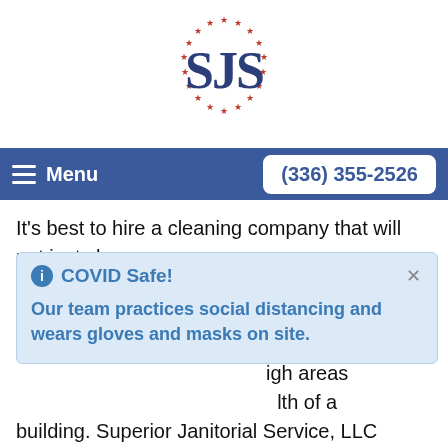[Figure (logo): SJS logo with stars in a circle around the letters SJS in navy blue]
Menu  (336) 355-2526
It's best to hire a cleaning company that will not just clean [visible areas] [ict. Just] [commercial] [igh areas] [lth of a] building. Superior Janitorial Service, LLC knows how to clean these hard-to-reach areas and will do so in a safe and thorough manner. If you are searching for quality cleaning services that include high dusting for an Elon office, call Superior Janitorial Service, LLC at
COVID Safe!
Our team practices social distancing and wears gloves and masks on site.